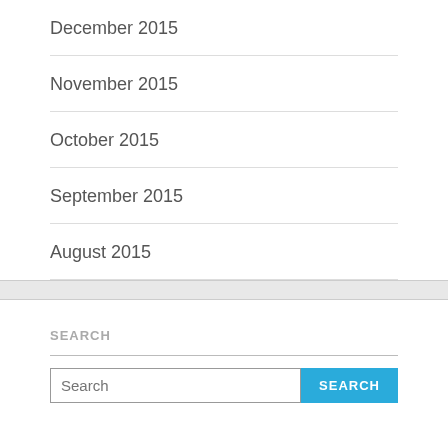December 2015
November 2015
October 2015
September 2015
August 2015
SEARCH
Search